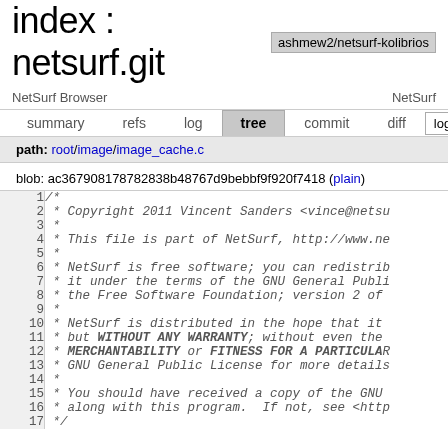index : netsurf.git  ashmew2/netsurf-kolibrios
NetSurf Browser   NetSurf
summary  refs  log  tree  commit  diff  log msg
path: root/image/image_cache.c
blob: ac367908178782838b48767d9bebbf9f920f7418 (plain)
1  /*
2   * Copyright 2011 Vincent Sanders <vince@netsu...
3   *
4   * This file is part of NetSurf, http://www.ne...
5   *
6   * NetSurf is free software; you can redistrib...
7   * it under the terms of the GNU General Publi...
8   * the Free Software Foundation; version 2 of ...
9   *
10  * NetSurf is distributed in the hope that it...
11  * but WITHOUT ANY WARRANTY; without even the ...
12  * MERCHANTABILITY or FITNESS FOR A PARTICULAR...
13  * GNU General Public License for more details...
14  *
15  * You should have received a copy of the GNU...
16  * along with this program.  If not, see <http...
17  */